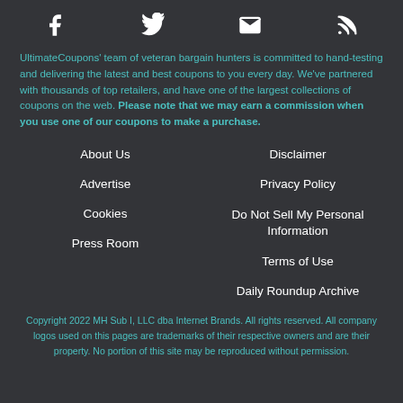[Figure (other): Social media icons: Facebook, Twitter, Email/Envelope, RSS feed]
UltimateCoupons' team of veteran bargain hunters is committed to hand-testing and delivering the latest and best coupons to you every day. We've partnered with thousands of top retailers, and have one of the largest collections of coupons on the web. Please note that we may earn a commission when you use one of our coupons to make a purchase.
About Us
Disclaimer
Advertise
Privacy Policy
Cookies
Do Not Sell My Personal Information
Press Room
Terms of Use
Daily Roundup Archive
Copyright 2022 MH Sub I, LLC dba Internet Brands. All rights reserved. All company logos used on this pages are trademarks of their respective owners and are their property. No portion of this site may be reproduced without permission.